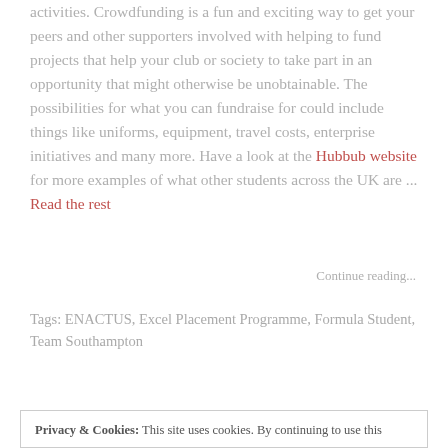activities. Crowdfunding is a fun and exciting way to get your peers and other supporters involved with helping to fund projects that help your club or society to take part in an opportunity that might otherwise be unobtainable. The possibilities for what you can fundraise for could include things like uniforms, equipment, travel costs, enterprise initiatives and many more. Have a look at the Hubbub website for more examples of what other students across the UK are ... Read the rest
Continue reading...
Tags: ENACTUS, Excel Placement Programme, Formula Student, Team Southampton
Privacy & Cookies: This site uses cookies. By continuing to use this